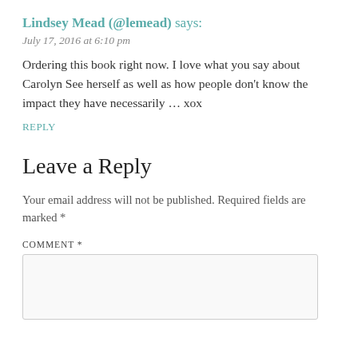Lindsey Mead (@lemead) says:
July 17, 2016 at 6:10 pm
Ordering this book right now. I love what you say about Carolyn See herself as well as how people don't know the impact they have necessarily … xox
REPLY
Leave a Reply
Your email address will not be published. Required fields are marked *
COMMENT *